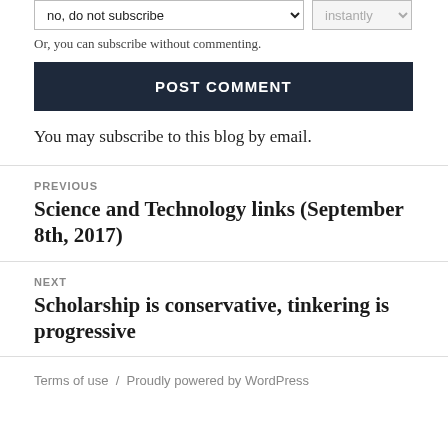Or, you can subscribe without commenting.
POST COMMENT
You may subscribe to this blog by email.
PREVIOUS
Science and Technology links (September 8th, 2017)
NEXT
Scholarship is conservative, tinkering is progressive
Terms of use  /  Proudly powered by WordPress